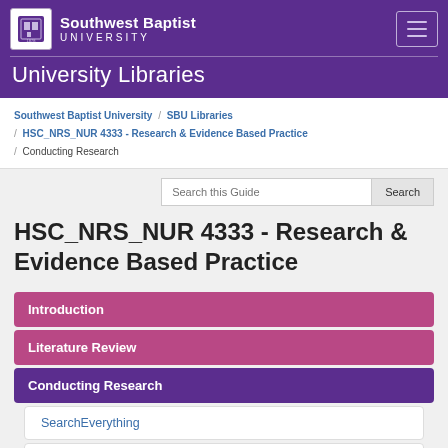[Figure (logo): Southwest Baptist University logo with shield icon]
Southwest Baptist University | University Libraries
Southwest Baptist University / SBU Libraries / HSC_NRS_NUR 4333 - Research & Evidence Based Practice / Conducting Research
HSC_NRS_NUR 4333 - Research & Evidence Based Practice
Introduction
Literature Review
Conducting Research
SearchEverything
Searching Tips & Tricks
Looking for a specific article or journal?